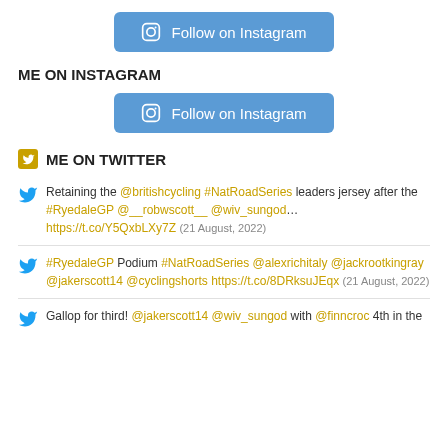[Figure (other): Follow on Instagram button (blue rounded rectangle with Instagram icon)]
ME ON INSTAGRAM
[Figure (other): Follow on Instagram button (blue rounded rectangle with Instagram icon)]
ME ON TWITTER
Retaining the @britishcycling #NatRoadSeries leaders jersey after the #RyedaleGP @__robwscott__ @wiv_sungod… https://t.co/Y5QxbLXy7Z (21 August, 2022)
#RyedaleGP Podium #NatRoadSeries @alexrichitaly @jackrootkingray @jakerscott14 @cyclingshorts https://t.co/8DRksuJEqx (21 August, 2022)
Gallop for third! @jakerscott14 @wiv_sungod with @finncroc 4th in the